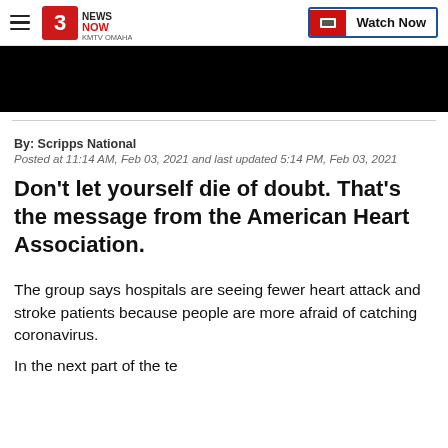3 News Now KMTV Omaha | Watch Now
[Figure (screenshot): Black video player bar]
By: Scripps National
Posted at 11:14 AM, Feb 03, 2021 and last updated 5:14 PM, Feb 03, 2021
Don't let yourself die of doubt. That's the message from the American Heart Association.
The group says hospitals are seeing fewer heart attack and stroke patients because people are more afraid of catching coronavirus.
In the next part of the text that is being cut off at the bottom...